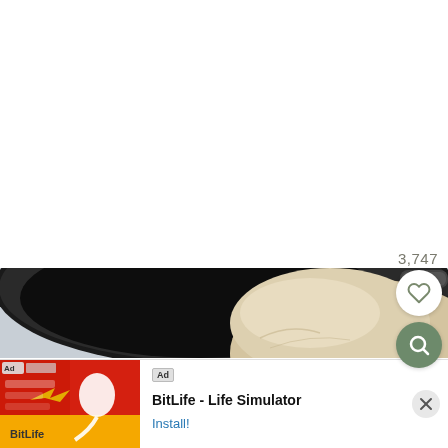3,747
[Figure (photo): A round ball of bread dough resting in a dark (black) cast iron skillet, viewed from above at an angle. The dough is pale beige/cream colored with a slightly rough surface texture. The background is a light blue-grey.]
[Figure (screenshot): Mobile advertisement banner for BitLife - Life Simulator app. Left side shows a colorful ad graphic with text 'you can't sit with us' and the BitLife logo on a red/orange background. Right side shows the app name 'BitLife - Life Simulator' with an 'Install!' button link in blue. A close (X) button appears on the far right.]